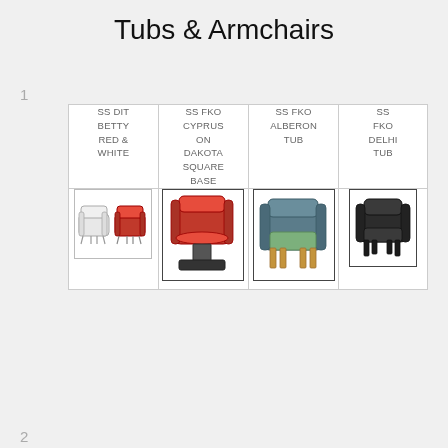Tubs & Armchairs
1
| SS DIT BETTY RED & WHITE | SS FKO CYPRUS ON DAKOTA SQUARE BASE | SS FKO ALBERON TUB | SS FKO DELHI TUB |
| --- | --- | --- | --- |
| [image: two small tub chairs, white and red] | [image: red tub chair on square chrome base] | [image: blue/green fabric tub armchair on wooden legs] | [image: dark leather tub armchair] |
2